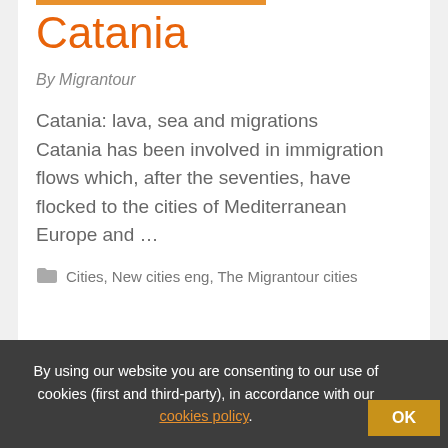Catania
By Migrantour
Catania: lava, sea and migrations Catania has been involved in immigration flows which, after the seventies, have flocked to the cities of Mediterranean Europe and …
Cities, New cities eng, The Migrantour cities
15 SEP 14
By using our website you are consenting to our use of cookies (first and third-party), in accordance with our cookies policy.